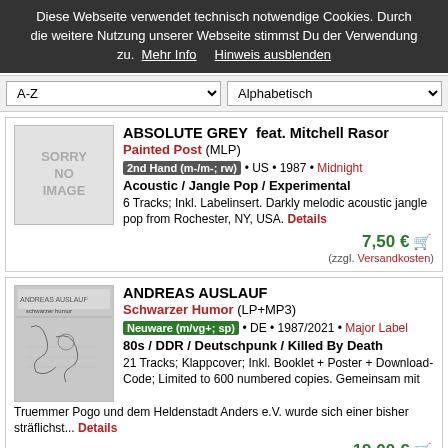Diese Webseite verwendet technisch notwendige Cookies. Durch die weitere Nutzung unserer Webseite stimmst Du der Verwendung zu.  Mehr Info      Hinweis ausblenden
A-Z  Alphabetisch
ABSOLUTE GREY  feat. Mitchell Rasor
Painted Post (MLP)
2nd Hand (m-/m-; rw) • US • 1987 • Midnight
Acoustic / Jangle Pop / Experimental
6 Tracks; Inkl. Labelinsert. Darkly melodic acoustic jangle pop from Rochester, NY, USA. Details
7,50 €
(zzgl. Versandkosten)
ANDREAS AUSLAUF
Schwarzer Humor (LP+MP3)
Neuware (m/vg+; sp) • DE • 1987/2021 • Major Label
80s / DDR / Deutschpunk / Killed By Death
21 Tracks; Klappcover; Inkl. Booklet + Poster + Download-Code; Limited to 600 numbered copies. Gemeinsam mit Truemmer Pogo und dem Heldenstadt Anders e.V. wurde sich einer bisher sträflichst... Details
19,00 €
(zzgl. Versandkosten)
ANGRY KIDS / THE CREEPS